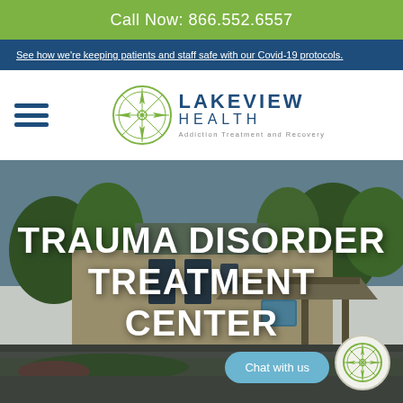Call Now: 866.552.6557
See how we're keeping patients and staff safe with our Covid-19 protocols.
[Figure (logo): Lakeview Health logo with compass rose icon, text: LAKEVIEW HEALTH Addiction Treatment and Recovery]
[Figure (photo): Exterior photo of Lakeview Health treatment center building with trees and parking lot]
TRAUMA DISORDER TREATMENT CENTER
Chat with us